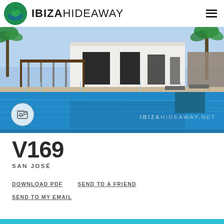IBIZAHIDEAWAY
[Figure (photo): Aerial/ground-level photo of a luxury white villa with a large blue swimming pool, palm trees, glass railings, and outdoor furniture in Ibiza. Watermark reads IBIZAHIDEAWAY.NET. Gallery icon button visible bottom-left.]
V169
SAN JOSÉ
DOWNLOAD PDF
SEND TO A FRIEND
SEND TO MY EMAIL